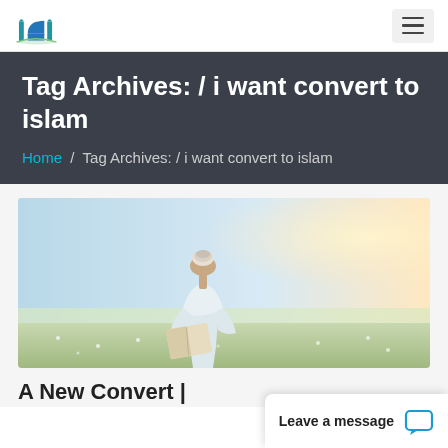Logo and navigation bar with hamburger menu
Tag Archives: / i want convert to islam
Home / Tag Archives: / i want convert to islam
[Figure (photo): A man in white traditional Islamic clothing and a white kufi cap standing in an open field, reading from a book (likely the Quran), with a bright hazy sky and wildflowers in the background.]
A New Convert |
Leave a message